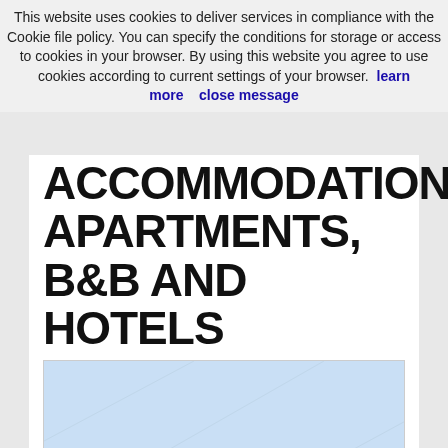This website uses cookies to deliver services in compliance with the Cookie file policy. You can specify the conditions for storage or access to cookies in your browser. By using this website you agree to use cookies according to current settings of your browser.  learn more      close message
ACCOMMODATIONS, APARTMENTS, B&B AND HOTELS
[Figure (map): A map showing a coastal area of Mallorca, Spain with light blue sea and a green land mass in the lower right. Labels include 'Sea', 'Alcúdia', 'Can Picafort', and 'Cala R' (partially visible).]